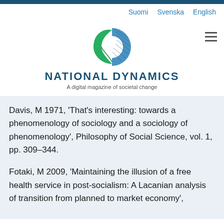Suomi  Svenska  English
[Figure (logo): National Dynamics logo — green leaf and blue arc shape above the text NATIONAL DYNAMICS, A digital magazine of societal change]
Davis, M 1971, ‘That’s interesting: towards a phenomenology of sociology and a sociology of phenomenology’, Philosophy of Social Science, vol. 1, pp. 309–344.
Fotaki, M 2009, ‘Maintaining the illusion of a free health service in post-socialism: A Lacanian analysis of transition from planned to market economy’,